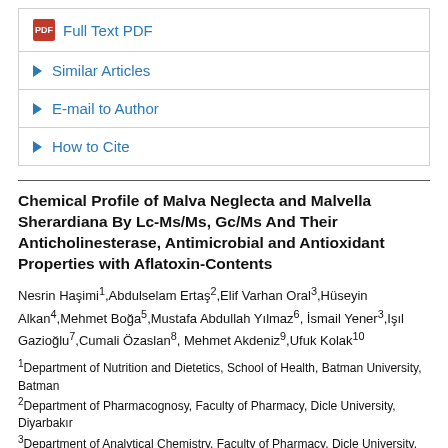Full Text PDF
Similar Articles
E-mail to Author
How to Cite
Chemical Profile of Malva Neglecta and Malvella Sherardiana By Lc-Ms/Ms, Gc/Ms And Their Anticholinesterase, Antimicrobial and Antioxidant Properties with Aflatoxin-Contents
Nesrin Haşimi¹,Abdulselam Ertaş²,Elif Varhan Oral³,Hüseyin Alkan⁴,Mehmet Boğa⁵,Mustafa Abdullah Yılmaz⁶,İsmail Yener³,Işıl Gazioğlu⁷,Cumali Özaslan⁸, Mehmet Akdeniz⁹,Ufuk Kolak¹⁰
¹Department of Nutrition and Dietetics, School of Health, Batman University, Batman
²Department of Pharmacognosy, Faculty of Pharmacy, Dicle University, Diyarbakır
³Department of Analytical Chemistry, Faculty of Pharmacy, Dicle University,